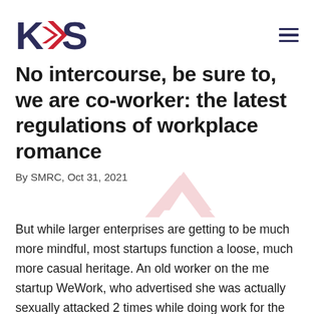KAS
No intercourse, be sure to, we are co-worker: the latest regulations of workplace romance
By SMRC, Oct 31, 2021
But while larger enterprises are getting to be much more mindful, most startups function a loose, much more casual heritage. An old worker on the me startup WeWork, who advertised she was actually sexually attacked 2 times while doing work for the business, filed case in 2018